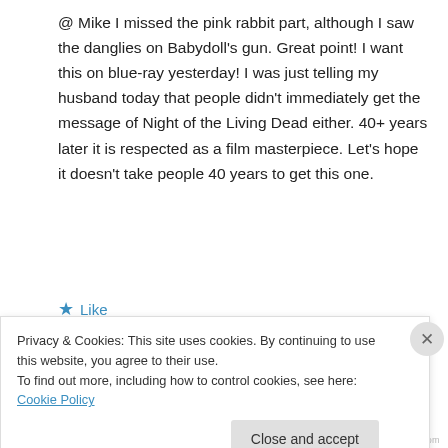@ Mike I missed the pink rabbit part, although I saw the danglies on Babydoll's gun. Great point! I want this on blue-ray yesterday! I was just telling my husband today that people didn't immediately get the message of Night of the Living Dead either. 40+ years later it is respected as a film masterpiece. Let's hope it doesn't take people 40 years to get this one.
★ Like
↵ Reply
Privacy & Cookies: This site uses cookies. By continuing to use this website, you agree to their use.
To find out more, including how to control cookies, see here: Cookie Policy
Close and accept